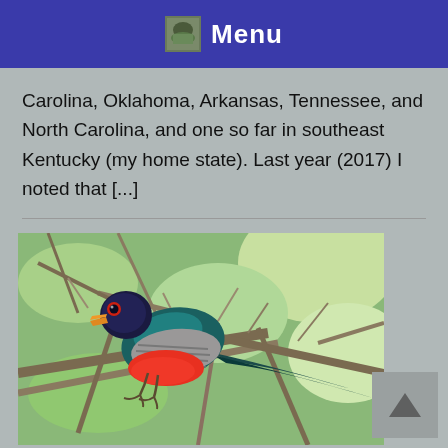Menu
Carolina, Oklahoma, Arkansas, Tennessee, and North Carolina, and one so far in southeast Kentucky (my home state). Last year (2017) I noted that [...]
[Figure (photo): A colorful trogon bird with teal/green back, red breast, gray-barred wings, orange beak, and red eye-ring, perched on bare tree branches with green foliage in the background.]